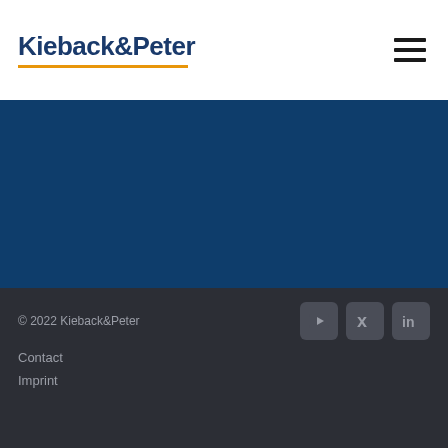Kieback&Peter
[Figure (other): Dark blue rectangular section filling the middle of the page]
© 2022 Kieback&Peter
Contact
Imprint